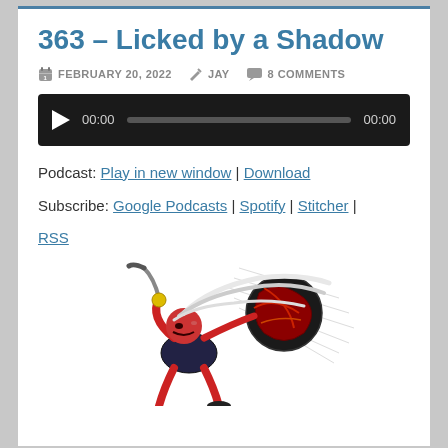363 – Licked by a Shadow
FEBRUARY 20, 2022   JAY   8 COMMENTS
[Figure (other): Audio player with play button, 00:00 timestamp, progress bar, and 00:00 end time on dark background]
Podcast: Play in new window | Download
Subscribe: Google Podcasts | Spotify | Stitcher | RSS
[Figure (illustration): Comic book style illustration of a female superhero with white hair and red skin, swinging a bat at a swirling ball, with motion lines]